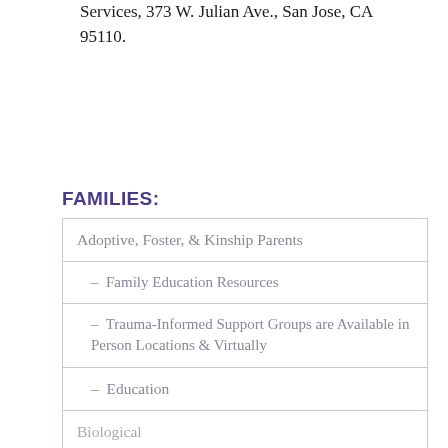Services, 373 W. Julian Ave., San Jose, CA 95110.
FAMILIES:
Adoptive, Foster, & Kinship Parents
- Family Education Resources
- Trauma-Informed Support Groups are Available in Person Locations & Virtually
- Education
Biological